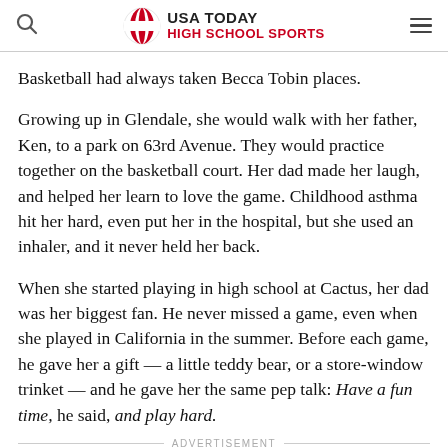USA TODAY HIGH SCHOOL SPORTS
Basketball had always taken Becca Tobin places.
Growing up in Glendale, she would walk with her father, Ken, to a park on 63rd Avenue. They would practice together on the basketball court. Her dad made her laugh, and helped her learn to love the game. Childhood asthma hit her hard, even put her in the hospital, but she used an inhaler, and it never held her back.
When she started playing in high school at Cactus, her dad was her biggest fan. He never missed a game, even when she played in California in the summer. Before each game, he gave her a gift — a little teddy bear, or a store-window trinket — and he gave her the same pep talk: Have a fun time, he said, and play hard.
ADVERTISEMENT